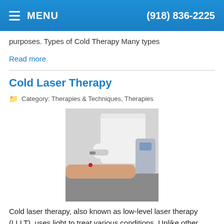MENU  (918) 836-2225
purposes. Types of Cold Therapy Many types
Read more
Cold Laser Therapy
Category: Therapies & Techniques, Therapies
[Figure (photo): A medical professional in a white coat applying a cold laser therapy device to a patient's arm.]
Cold laser therapy, also known as low-level laser therapy (LLLT), uses light to treat various conditions. Unlike other types of laser light, cold laser therapy does not produce heat or vibration in the parts of the